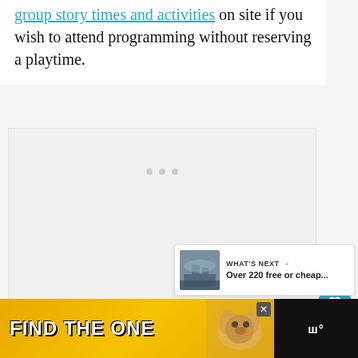group story times and activities on site if you wish to attend programming without reserving a playtime.
[Figure (other): Embedded media player or loading content area with three dot indicators, shown as a light gray placeholder box]
[Figure (other): Heart (favorite) button — teal circular button with white heart icon]
[Figure (other): Share button — white circular button with share icon]
[Figure (other): What's Next card showing a city photo thumbnail and text 'WHAT'S NEXT → Over 220 free or cheap...']
[Figure (other): Advertisement banner at bottom: black background, yellow section reading 'FIND THE ONE' with dog photo, and brand logo on right side]